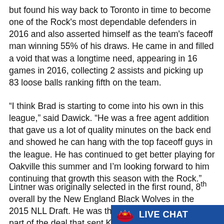but found his way back to Toronto in time to become one of the Rock's most dependable defenders in 2016 and also asserted himself as the team's faceoff man winning 55% of his draws. He came in and filled a void that was a longtime need, appearing in 16 games in 2016, collecting 2 assists and picking up 83 loose balls ranking fifth on the team.
“I think Brad is starting to come into his own in this league,” said Dawick. “He was a free agent addition that gave us a lot of quality minutes on the back end and showed he can hang with the top faceoff guys in the league. He has continued to get better playing for Oakville this summer and I’m looking forward to him continuing that growth this season with the Rock.”
Lintner was originally selected in the first round, 8th overall by the New England Black Wolves in the 2015 NLL Draft. He was then shipped to Toronto as a part of the deal that sent Kevin Crowley back to the Black Wolves prior to the 2016 season. At 23-years old, the Courtice, Ontario native is one
[Figure (other): Toronto Rock Live Chat overlay banner with team logo and 'LIVE CHAT' text on blue background]